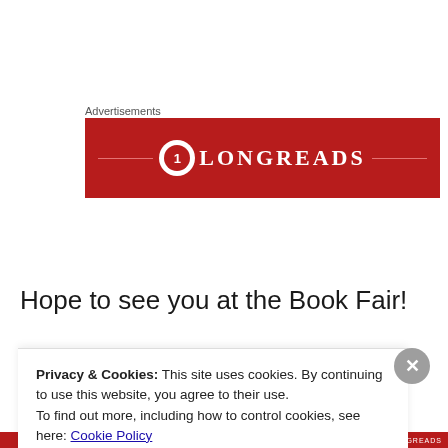Advertisements
[Figure (logo): Longreads advertisement banner — red background with circular logo and LONGREADS text in white serif letters with decorative horizontal lines]
Hope to see you at the Book Fair!
Privacy & Cookies: This site uses cookies. By continuing to use this website, you agree to their use.
To find out more, including how to control cookies, see here: Cookie Policy
Close and accept